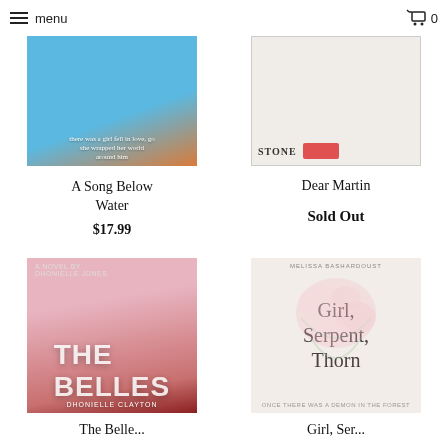menu  🛒 0
[Figure (photo): Book cover: A Song Below Water, blue and brown tones with figure]
A Song Below Water
$17.99
[Figure (photo): Book cover: Dear Martin, light background with STONE label and red accent]
Dear Martin
Sold Out
[Figure (photo): Book cover: The Belles by Dhonielle Clayton, woman with flowers in hair, pink/red tones]
[Figure (photo): Book cover: Girl, Serpent, Thorn by Melissa Bashardoust, floral design on light background]
The Belle...
Girl, Ser...